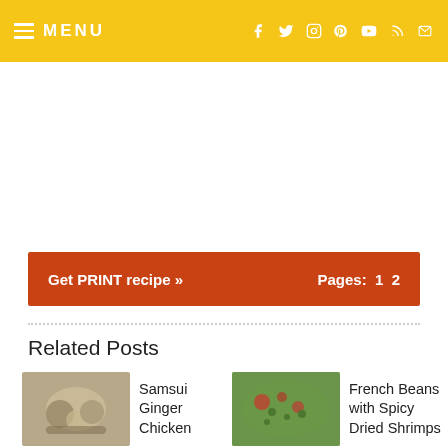MENU
Get PRINT recipe »    Pages: 1  2
Related Posts
Samsui Ginger Chicken
French Beans with Spicy Dried Shrimps
Bacon Roasted Potatoes
Macadamia Pesto